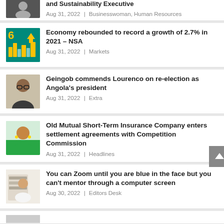and Sustainability Executive | Aug 31, 2022 | Businesswoman, Human Resources
Economy rebounded to record a growth of 2.7% in 2021 – NSA | Aug 31, 2022 | Markets
Geingob commends Lourenco on re-election as Angola's president | Aug 31, 2022 | Extra
Old Mutual Short-Term Insurance Company enters settlement agreements with Competition Commission | Aug 31, 2022 | Headlines
You can Zoom until you are blue in the face but you can't mentor through a computer screen | Aug 30, 2022 | Editors Desk